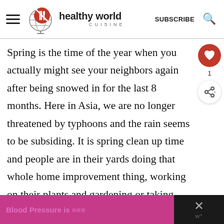healthy world CUISINE — SUBSCRIBE
Spring is the time of the year when you actually might see your neighbors again after being snowed in for the last 8 months. Here in Asia, we are no longer threatened by typhoons and the rain seems to be subsiding. It is spring clean up time and people are in their yards doing that whole home improvement thing, working on their plants and gardening or taking their dogs or kids out
[Figure (other): What's Next widget showing Pork Tonkatsu with food image thumbnail]
[Figure (other): Advertisement banner: Blood Pressure is...]